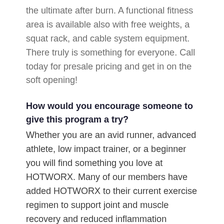the ultimate after burn. A functional fitness area is available also with free weights, a squat rack, and cable system equipment. There truly is something for everyone. Call today for presale pricing and get in on the soft opening!
How would you encourage someone to give this program a try?
Whether you are an avid runner, advanced athlete, low impact trainer, or a beginner you will find something you love at HOTWORX. Many of our members have added HOTWORX to their current exercise regimen to support joint and muscle recovery and reduced inflammation throughout their bodies, others have made HOTWORX their primary regimen incorporating the high intensity and isometrics workouts together to increase metabolism, detoxification, and improve organ